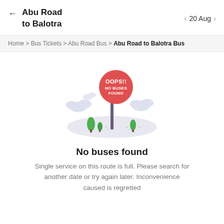Abu Road to Balotra  ←  20 Aug
Home > Bus Tickets > Abu Road Bus > Abu Road to Balotra Bus
[Figure (illustration): Cartoon illustration of a road sign reading 'OOPS!! NO BUSES FOUND' on a post, with trees and hills in background. The sign is a red circle with white text.]
No buses found
Single service on this route is full. Please search for another date or try again later. Inconvenience caused is regretted